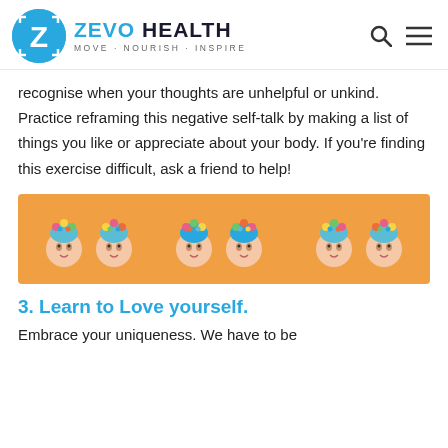ZEVO HEALTH — MOVE · NOURISH · INSPIRE
recognise when your thoughts are unhelpful or unkind. Practice reframing this negative self-talk by making a list of things you like or appreciate about your body. If you're finding this exercise difficult, ask a friend to help!
[Figure (illustration): Orange banner with repeated illustrated female face icons wearing floral headdresses, arranged in two rows across the banner.]
3. Learn to Love yourself.
Embrace your uniqueness. We have to be